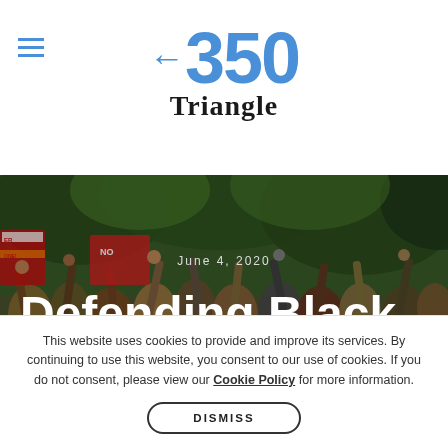350 Triangle
[Figure (photo): Crowd of protesters raising fists and signs outdoors under trees. Date overlay reads June 4, 2020. Large white bold text overlay reads: Defending Black Lives and What We Must Do to]
This website uses cookies to provide and improve its services. By continuing to use this website, you consent to our use of cookies. If you do not consent, please view our Cookie Policy for more information.
DISMISS